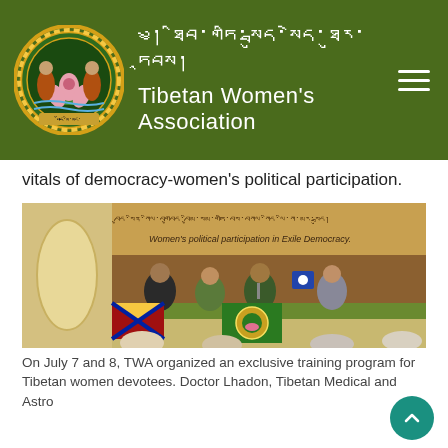Tibetan Women's Association
vitals of democracy-women's political participation.
[Figure (photo): Panel of four people seated at a table with Tibetan and TWA flags in front, banner in background reading 'Women's political participation in Exile Democracy.']
On July 7 and 8, TWA organized an exclusive training program for Tibetan women devotees. Doctor Lhadon, Tibetan Medical and Astro